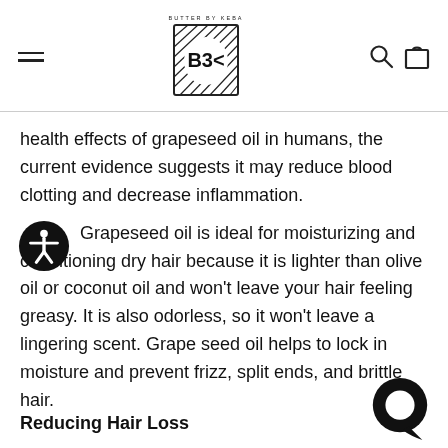BUTTER BY KEBA [logo with navigation hamburger menu, search icon, and bag icon]
health effects of grapeseed oil in humans, the current evidence suggests it may reduce blood clotting and decrease inflammation.
Grapeseed oil is ideal for moisturizing and conditioning dry hair because it is lighter than olive oil or coconut oil and won't leave your hair feeling greasy. It is also odorless, so it won't leave a lingering scent. Grape seed oil helps to lock in moisture and prevent frizz, split ends, and brittle hair.
Reducing Hair Loss